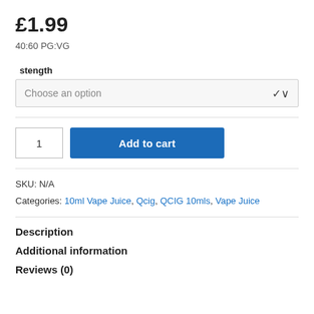£1.99
40:60 PG:VG
stength
Choose an option
1  Add to cart
SKU: N/A
Categories: 10ml Vape Juice, Qcig, QCIG 10mls, Vape Juice
Description
Additional information
Reviews (0)